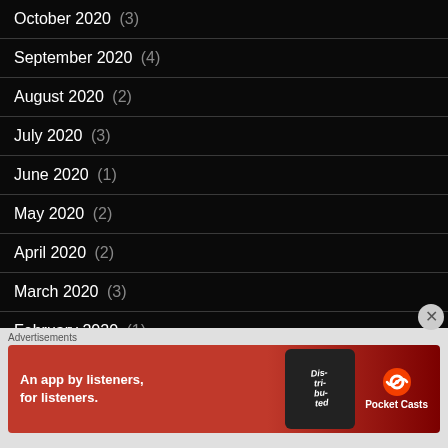October 2020 (3)
September 2020 (4)
August 2020 (2)
July 2020 (3)
June 2020 (1)
May 2020 (2)
April 2020 (2)
March 2020 (3)
February 2020 (1)
January 2020 (2)
December 2019 (2)
[Figure (infographic): Pocket Casts advertisement banner: red background with text 'An app by listeners, for listeners.' with Pocket Casts logo and phone image showing 'Distributed' text]